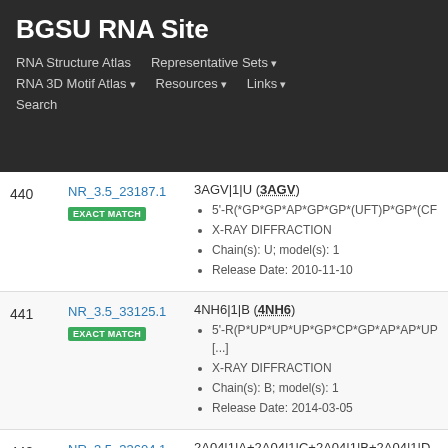BGSU RNA Site
RNA Structure Atlas | Representative Sets ▾ | RNA 3D Motif Atlas ▾ | Resources ▾ | Links ▾ | Search
| # | ID | Details |
| --- | --- | --- |
| 440 | NR_3.5_23187.1 EXACT MATCH | 3AGV|1|U (3AGV) • 5'-R(*GP*GP*AP*GP*GP*(UFT)P*GP*(CF... • X-RAY DIFFRACTION • Chain(s): U; model(s): 1 • Release Date: 2010-11-10 |
| 441 | NR_3.5_33125.1 EXACT MATCH | 4NH6|1|B (4NH6) • 5'-R(P*UP*UP*UP*GP*CP*GP*AP*AP*UP [...] • X-RAY DIFFRACTION • Chain(s): B; model(s): 1 • Release Date: 2014-03-05 |
| 442 | NR_3.5_33604.1 EXACT MATCH | 2A04|1|A+2A04|1|C+2A04|1|B+2A04|1|D (2A0... • 5'- |